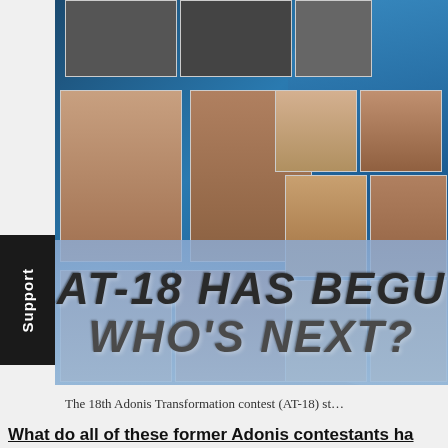[Figure (photo): Collage of male fitness transformation contestants on a blue DNA helix background, with text overlay 'AT-18 HAS BEGUN WHO'S NEXT?']
The 18th Adonis Transformation contest (AT-18) st...
What do all of these former Adonis contestants ha...